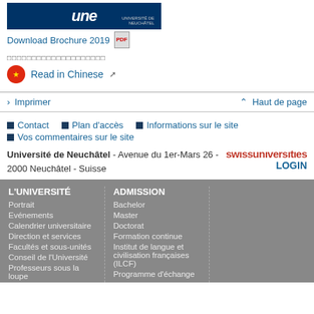[Figure (logo): Université de Neuchâtel logo — dark blue banner with 'une' stylized text]
Download Brochure 2019 [PDF icon]
□□□□□□□□□□□□□□□□□□□□
🇨🇳 Read in Chinese ↗
› Imprimer
⌂ Haut de page
■ Contact
■ Plan d'accès
■ Informations sur le site
■ Vos commentaires sur le site
Université de Neuchâtel - Avenue du 1er-Mars 26 - 2000 Neuchâtel - Suisse
[Figure (logo): swissuniversities logo in red text]
LOGIN
L'UNIVERSITÉ
Portrait
Evénements
Calendrier universitaire
Direction et services
Facultés et sous-unités
Conseil de l'Université
Professeurs sous la loupe
ADMISSION
Bachelor
Master
Doctorat
Formation continue
Institut de langue et civilisation françaises (ILCF)
Programme d'échange